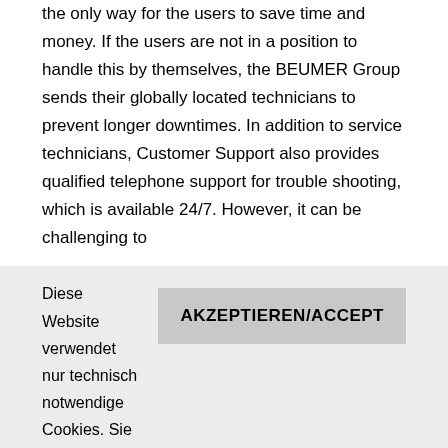the only way for the users to save time and money. If the users are not in a position to handle this by themselves, the BEUMER Group sends their globally located technicians to prevent longer downtimes. In addition to service technicians, Customer Support also provides qualified telephone support for trouble shooting, which is available 24/7. However, it can be challenging to
Diese Website verwendet nur technisch notwendige Cookies. Sie werden nicht getrackt und Ihre Daten werden nicht weitergeleitet an Dritte. Durch die Nutzung dieser Webseite erklären Sie sich damit einverstanden, dass Cookies gesetzt werden. Mehr erfahren
This website uses only technically necessary cookies. You are not tracked and your data are not passed on to third parties. By using this website, you consent to the use of cookies.